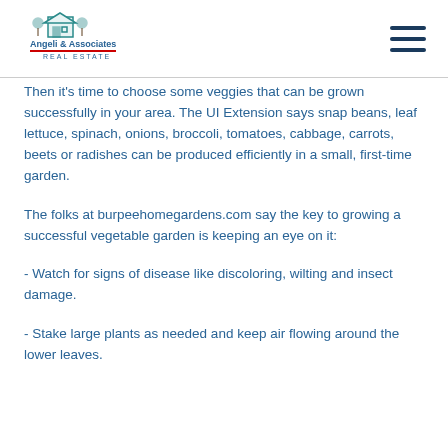Angeli & Associates Real Estate
Then it's time to choose some veggies that can be grown successfully in your area. The UI Extension says snap beans, leaf lettuce, spinach, onions, broccoli, tomatoes, cabbage, carrots, beets or radishes can be produced efficiently in a small, first-time garden.
The folks at burpeehomegardens.com say the key to growing a successful vegetable garden is keeping an eye on it:
- Watch for signs of disease like discoloring, wilting and insect damage.
- Stake large plants as needed and keep air flowing around the lower leaves.